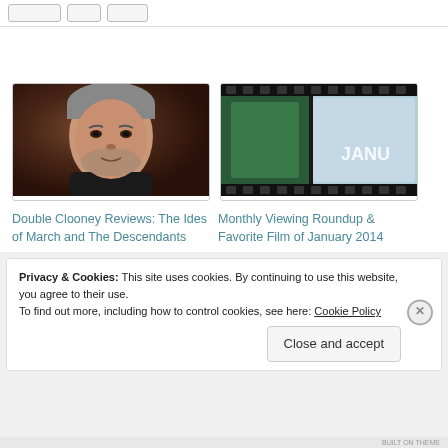[navigation buttons]
[Figure (photo): Photo of George Clooney, a man with gray-streaked hair and beard in a dark shirt]
Double Clooney Reviews: The Ides of March and The Descendants
[Figure (photo): Film strip image with green and icy blue/winter tones and 'JANU' text overlay]
Monthly Viewing Roundup & Favorite Film of January 2014
Privacy & Cookies: This site uses cookies. By continuing to use this website, you agree to their use. To find out more, including how to control cookies, see here: Cookie Policy
Close and accept